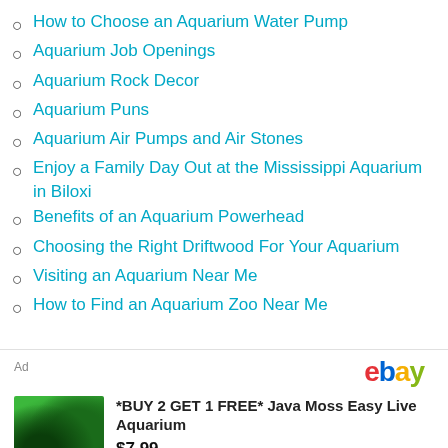How to Choose an Aquarium Water Pump
Aquarium Job Openings
Aquarium Rock Decor
Aquarium Puns
Aquarium Air Pumps and Air Stones
Enjoy a Family Day Out at the Mississippi Aquarium in Biloxi
Benefits of an Aquarium Powerhead
Choosing the Right Driftwood For Your Aquarium
Visiting an Aquarium Near Me
How to Find an Aquarium Zoo Near Me
[Figure (other): eBay advertisement banner with Java Moss aquarium plant product listing]
*BUY 2 GET 1 FREE* Java Moss Easy Live Aquarium
$7.99
Free Shipping